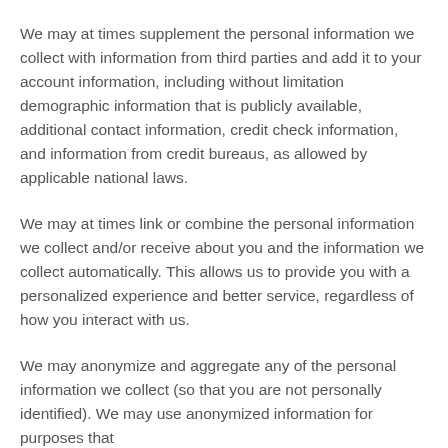We may at times supplement the personal information we collect with information from third parties and add it to your account information, including without limitation demographic information that is publicly available, additional contact information, credit check information, and information from credit bureaus, as allowed by applicable national laws.
We may at times link or combine the personal information we collect and/or receive about you and the information we collect automatically. This allows us to provide you with a personalized experience and better service, regardless of how you interact with us.
We may anonymize and aggregate any of the personal information we collect (so that you are not personally identified). We may use anonymized information for purposes that